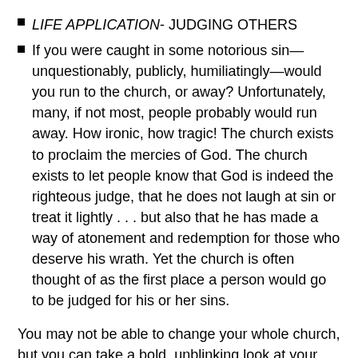LIFE APPLICATION- JUDGING OTHERS
If you were caught in some notorious sin—unquestionably, publicly, humiliatingly—would you run to the church, or away? Unfortunately, many, if not most, people probably would run away. How ironic, how tragic! The church exists to proclaim the mercies of God. The church exists to let people know that God is indeed the righteous judge, that he does not laugh at sin or treat it lightly . . . but also that he has made a way of atonement and redemption for those who deserve his wrath. Yet the church is often thought of as the first place a person would go to be judged for his or her sins.
You may not be able to change your whole church, but you can take a bold, unblinking look at your own attitudes. When you hear of another Christian being involved in